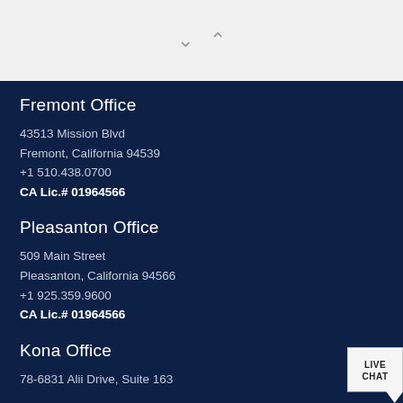[Figure (other): Navigation chevron arrows (down and up) on light gray background]
Fremont Office
43513 Mission Blvd
Fremont, California 94539
+1 510.438.0700
CA Lic.# 01964566
Pleasanton Office
509 Main Street
Pleasanton, California 94566
+1 925.359.9600
CA Lic.# 01964566
Kona Office
78-6831 Alii Drive, Suite 163